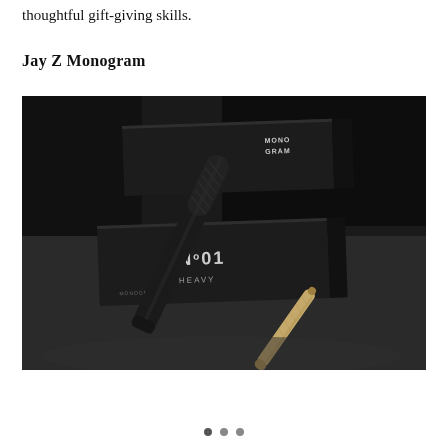thoughtful gift-giving skills.
Jay Z Monogram
[Figure (photo): Dark moody product photo showing a black Monogram branded box labeled 'No 01 Heavy' next to a black cylindrical device/pen and a rolled cannabis cigarette on a dark surface. The box text reads 'MONO GRAM' and 'No 01 HEAVY'.]
• • •